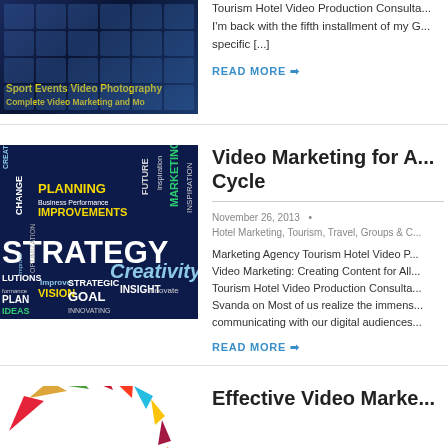[Figure (photo): Thumbnail image with dark blue background showing a video/photo grid overlay with yellow bold text: 'Sport Events Video Photography' and 'Complete Video Marketing and Mo']
Tourism Hotel Video Production Consulta... I'm back with the fifth installment of my G... specific [...]
READ MORE →
[Figure (photo): Dark navy blue word cloud image with 'STRATEGY' in large white text, surrounded by business/marketing words like PLANNING, CHANGE, IMPROVEMENTS, FUTURE, MARKETING, Creativity, VISION, STRATEGIC, GOAL, INSIGHT, PLAN, IDEAS, SOLUTIONS, INSPIRE, Growth, in various colors (white, yellow, teal, green)]
Video Marketing for A... Cycle
November 26, 2013  •
Hotel Marketing, Tourism, Travel, Groups & C...
Marketing Agency Tourism Hotel Video P... Video Marketing: Creating Content for All... Tourism Hotel Video Production Consulta... Svanda on Most of us realize the immens... communicating with our digital audiences...
READ MORE →
[Figure (photo): Colorful fan/wheel arrangement of SDG (Sustainable Development Goals) icons/tiles in various colors — orange, green, blue, yellow, red]
Effective Video Marke...